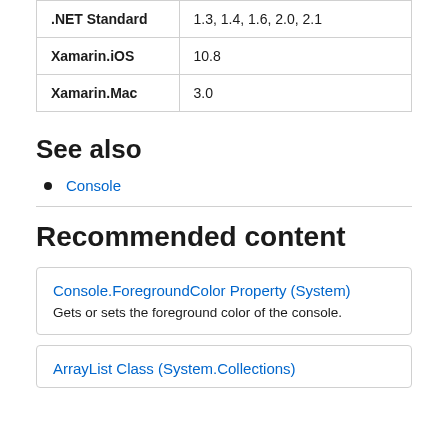| .NET Standard | 1.3, 1.4, 1.6, 2.0, 2.1 |
| Xamarin.iOS | 10.8 |
| Xamarin.Mac | 3.0 |
See also
Console
Recommended content
Console.ForegroundColor Property (System)
Gets or sets the foreground color of the console.
ArrayList Class (System.Collections)